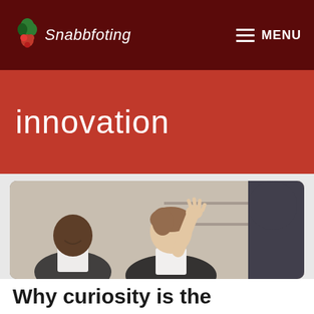Snabbfoting  MENU
innovation
[Figure (photo): Two business people in a meeting room — a smiling Black man in a suit on the left, and a smiling woman with her hand raised wearing a dark blazer in the center; a third person in a dark suit is partially visible on the right.]
Why curiosity is the